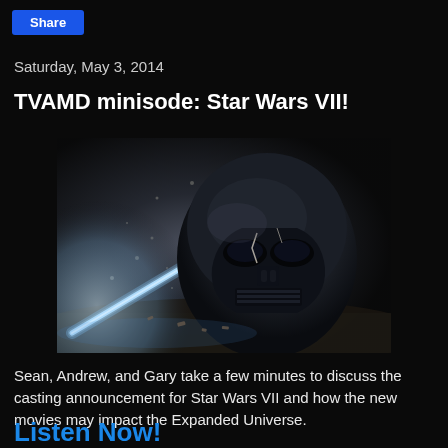Share
Saturday, May 3, 2014
TVAMD minisode: Star Wars VII!
[Figure (photo): Darth Vader helmet damaged on ground with a blue lightsaber visible in background, cinematic dark style]
Sean, Andrew, and Gary take a few minutes to discuss the casting announcement for Star Wars VII and how the new movies may impact the Expanded Universe.
Listen Now!